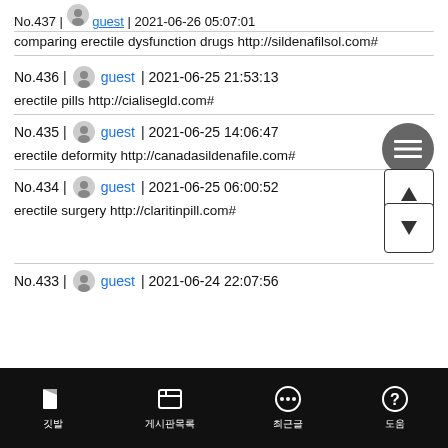No.437 | guest | 2021-06-26 05:07:01
comparing erectile dysfunction drugs http://sildenafilsol.com#
No.436 | guest | 2021-06-25 21:53:13
erectile pills http://cialisegld.com#
No.435 | guest | 2021-06-25 14:06:47
erectile deformity http://canadasildenafile.com#
No.434 | guest | 2021-06-25 06:00:52
erectile surgery http://claritinpill.com#
No.433 | guest | 2021-06-24 22:07:56
깃발 | 게시판목록 | 최근글 | 도움